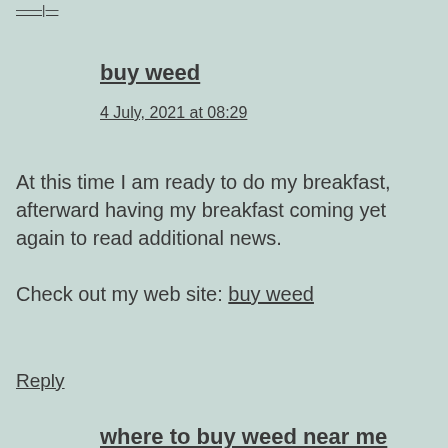——|—
buy weed
4 July, 2021 at 08:29
At this time I am ready to do my breakfast, afterward having my breakfast coming yet again to read additional news.

Check out my web site: buy weed
Reply
where to buy weed near me